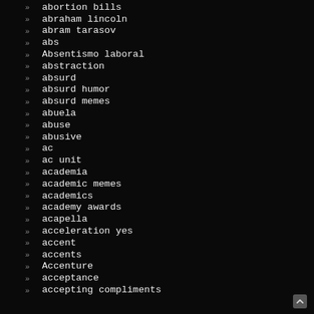abortion bills
abraham lincoln
abram tarasov
abs
Absentismo laboral
abstraction
absurd
absurd humor
absurd memes
abuela
abuse
abusive
ac
ac unit
academia
academic memes
academics
academy awards
acapella
acceleration yes
accent
accents
Accenture
acceptance
accepting compliments